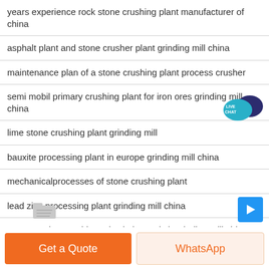years experience rock stone crushing plant manufacturer of china
asphalt plant and stone crusher plant grinding mill china
maintenance plan of a stone crushing plant process crusher
semi mobil primary crushing plant for iron ores grinding mill china
lime stone crushing plant grinding mill
bauxite processing plant in europe grinding mill china
mechanicalprocesses of stone crushing plant
lead zinc processing plant grinding mill china
stone crusher machine price in kenya ksh grinding mill china